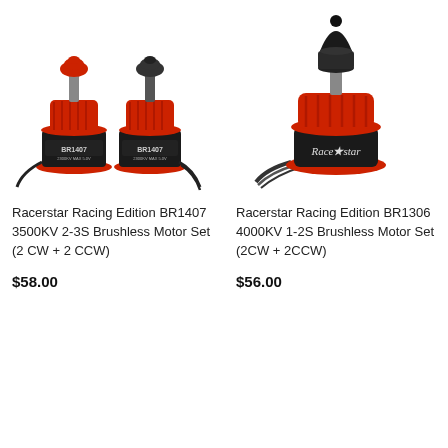[Figure (photo): Two Racerstar BR1407 brushless motors side by side, one with red cap and one with black cap, both with red bodies showing 'BR1407' markings and black bases with wires]
[Figure (photo): Single Racerstar BR1306 brushless motor with black bullet-shaped prop adapter on top, red body with 'Racerstar' branding, and black twisted wire]
Racerstar Racing Edition BR1407 3500KV 2-3S Brushless Motor Set (2 CW + 2 CCW)
$58.00
Racerstar Racing Edition BR1306 4000KV 1-2S Brushless Motor Set (2CW + 2CCW)
$56.00